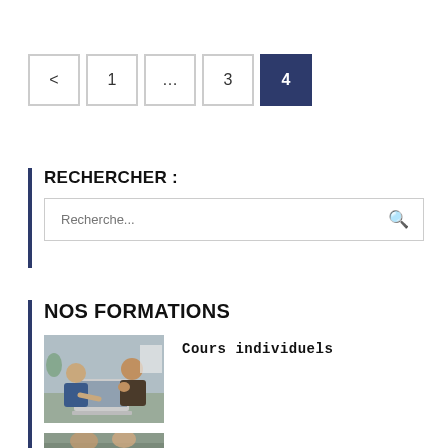< 1 ... 3 4 (pagination)
RECHERCHER :
Recherche...
NOS FORMATIONS
[Figure (photo): Two men working together at a laptop, one pointing at the screen]
Cours individuels
[Figure (photo): Partial image of another course item at bottom of page]